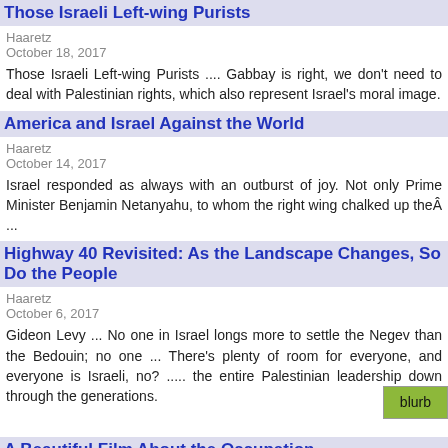Those Israeli Left-wing Purists
Haaretz
October 18, 2017
Those Israeli Left-wing Purists .... Gabbay is right, we don't need to deal with Palestinian rights, which also represent Israel's moral image.
America and Israel Against the World
Haaretz
October 14, 2017
Israel responded as always with an outburst of joy. Not only Prime Minister Benjamin Netanyahu, to whom the right wing chalked up theÂ ...
Highway 40 Revisited: As the Landscape Changes, So Do the People
Haaretz
October 6, 2017
Gideon Levy ... No one in Israel longs more to settle the Negev than the Bedouin; no one ... There's plenty of room for everyone, and everyone is Israeli, no? ..... the entire Palestinian leadership down through the generations.
A Beautiful Film About the Occupation
Haaretz
September 30, 2017
The film unit of the Israel Defense Forces spokesman's office would not